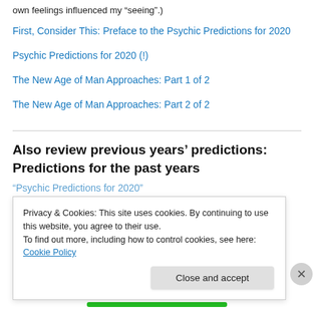own feelings influenced my “seeing”.)
First, Consider This: Preface to the Psychic Predictions for 2020
Psychic Predictions for 2020 (!)
The New Age of Man Approaches: Part 1 of 2
The New Age of Man Approaches: Part 2 of 2
Also review previous years’ predictions: Predictions for the past years
“Psychic Predictions for 2020”
Privacy & Cookies: This site uses cookies. By continuing to use this website, you agree to their use.
To find out more, including how to control cookies, see here: Cookie Policy